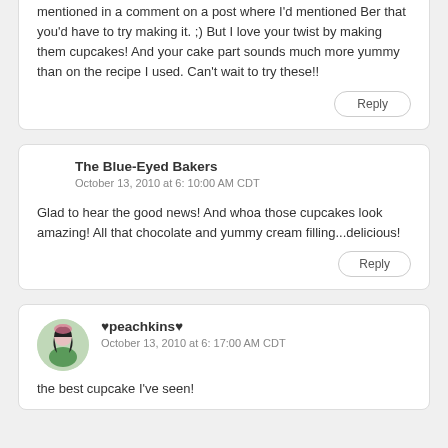mentioned in a comment on a post where I'd mentioned Ber that you'd have to try making it. ;) But I love your twist by making them cupcakes! And your cake part sounds much more yummy than on the recipe I used. Can't wait to try these!!
Reply
The Blue-Eyed Bakers
October 13, 2010 at 6: 10:00 AM CDT
Glad to hear the good news! And whoa those cupcakes look amazing! All that chocolate and yummy cream filling...delicious!
Reply
♥peachkins♥
October 13, 2010 at 6: 17:00 AM CDT
the best cupcake I've seen!